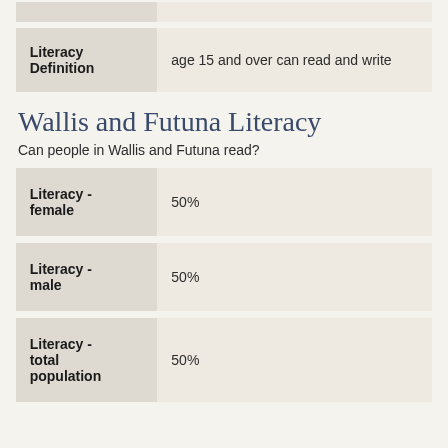| Field | Value |
| --- | --- |
| Literacy Definition | age 15 and over can read and write |
Wallis and Futuna Literacy
Can people in Wallis and Futuna read?
| Field | Value |
| --- | --- |
| Literacy - female | 50% |
| Literacy - male | 50% |
| Literacy - total population | 50% |